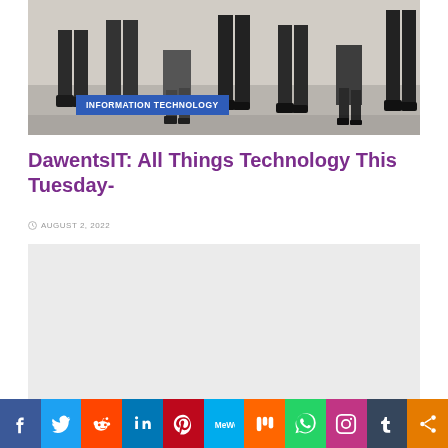[Figure (photo): Photo of people (legs visible) standing in a line, business attire, with 'INFORMATION TECHNOLOGY' badge overlay]
DawentsIT: All Things Technology This Tuesday-
AUGUST 2, 2022
[Figure (other): Light gray placeholder/advertisement box]
[Figure (infographic): Social media sharing bar with icons: Facebook, Twitter, Reddit, LinkedIn, Pinterest, MeWe, Mix, WhatsApp, Instagram, Tumblr, More]